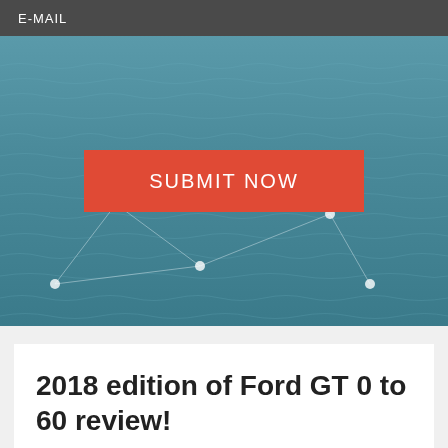E-MAIL
[Figure (photo): Aerial view of blue ocean water with network connection dots and lines overlay, and a red SUBMIT NOW button centered on the image]
2018 edition of Ford GT 0 to 60 review!
BY : HARSHIT JAIN